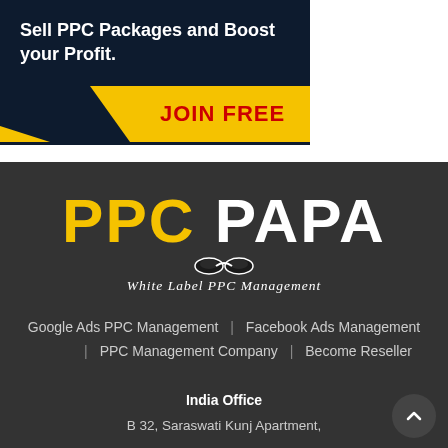[Figure (infographic): Dark navy banner with bold white text 'Sell PPC Packages and Boost your Profit.' and a yellow chevron area with red bold text 'JOIN FREE']
[Figure (logo): PPC PAPA logo — 'PPC' in gold/yellow and 'PAPA' in white bold large font with a mustache icon below the letters, subtitle 'White Label PPC Management' in white italic]
Google Ads PPC Management | Facebook Ads Management | PPC Management Company | Become Reseller
India Office
B 32, Saraswati Kunj Apartment,